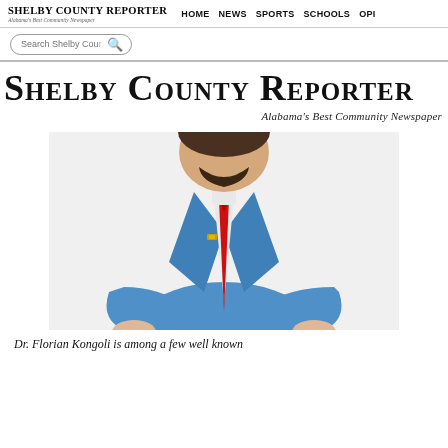Shelby County Reporter | Alabama's Best Community Newspaper | HOME | NEWS | SPORTS | SCHOOLS | OPI...
[Figure (other): Search bar with text 'Search Shelby Cour' and magnifying glass icon]
Shelby County Reporter
Alabama's Best Community Newspaper
[Figure (photo): Man in blue suit jacket with red tie, arms crossed, head not visible, photographed from shoulders down]
Dr. Florian Kongoli is among a few well known...